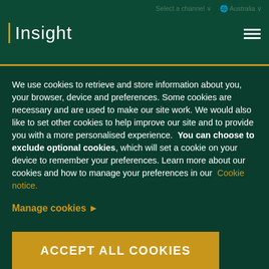Insight | Select a channel | Australia
We use cookies to retrieve and store information about you, your browser, device and preferences. Some cookies are necessary and are used to make our site work. We would also like to set other cookies to help improve our site and to provide you with a more personalised experience.  You can choose to exclude optional cookies, which will set a cookie on your device to remember your preferences. Learn more about our cookies and how to manage your preferences in our  Cookie notice.
Manage cookies ▶
ACCEPT ALL COOKIES